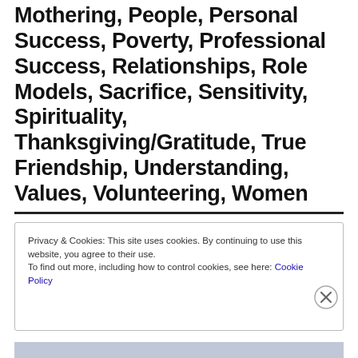Mothering, People, Personal Success, Poverty, Professional Success, Relationships, Role Models, Sacrifice, Sensitivity, Spirituality, Thanksgiving/Gratitude, True Friendship, Understanding, Values, Volunteering, Women
Privacy & Cookies: This site uses cookies. By continuing to use this website, you agree to their use.
To find out more, including how to control cookies, see here: Cookie Policy
Close and accept